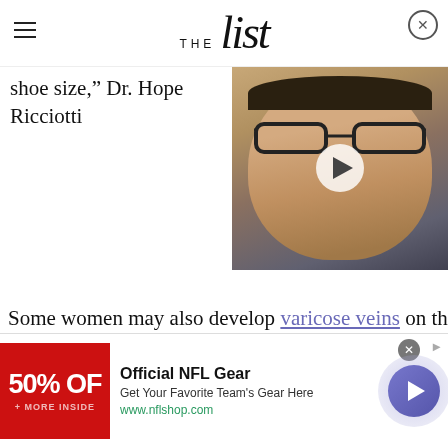THE list
shoe size," Dr. Hope Ricciotti
[Figure (photo): Video thumbnail showing a man with glasses, smiling, with a play button overlay]
Some women may also develop varicose veins on the
[Figure (infographic): NFL Gear advertisement banner: Official NFL Gear, Get Your Favorite Team's Gear Here, www.nflshop.com, 50% OFF red image, arrow button]